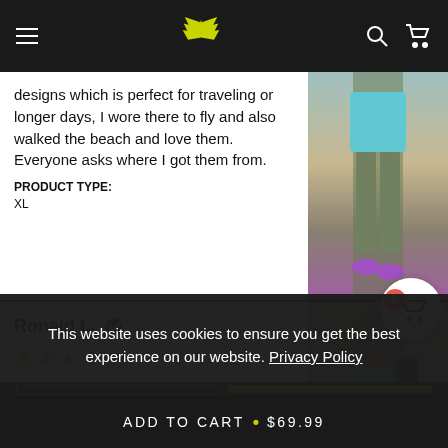Navigation header with hamburger menu, logo, search and cart icons
designs which is perfect for traveling or longer days, I wore there to fly and also walked the beach and love them. Everyone asks where I got them from. PRODUCT TYPE: XL
[Figure (photo): Photo of person wearing cargo pants and colorful sneakers]
Ronald L. (verified)
5 stars - My favorite ones!
[Figure (photo): Selfie photo of bald man with glasses in green t-shirt]
This website uses cookies to ensure you get the best experience on our website. Privacy Policy
ADD TO CART • $69.99